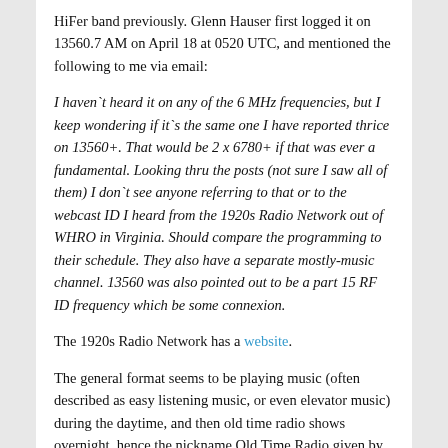HiFer band previously. Glenn Hauser first logged it on 13560.7 AM on April 18 at 0520 UTC, and mentioned the following to me via email:
I haven`t heard it on any of the 6 MHz frequencies, but I keep wondering if it`s the same one I have reported thrice on 13560+. That would be 2 x 6780+ if that was ever a fundamental. Looking thru the posts (not sure I saw all of them) I don`t see anyone referring to that or to the webcast ID I heard from the 1920s Radio Network out of WHRO in Virginia. Should compare the programming to their schedule. They also have a separate mostly-music channel. 13560 was also pointed out to be a part 15 RF ID frequency which be some connexion.
The 1920s Radio Network has a website.
The general format seems to be playing music (often described as easy listening music, or even elevator music) during the daytime, and then old time radio shows overnight, hence the nickname Old Time Radio given by several listeners. No formal ID has ever been heard.